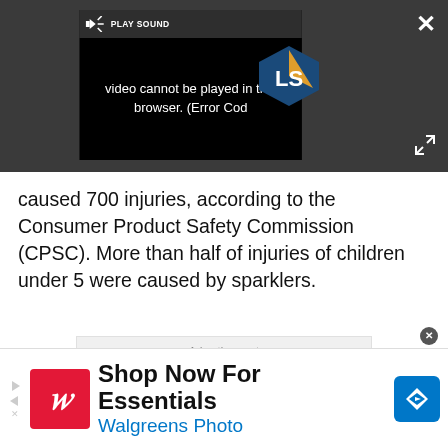[Figure (screenshot): Video player showing error message: 'Video cannot be played in this browser. (Error Cod...' with speaker/play sound button and LS logo overlay. Dark grey background with close and expand buttons.]
caused 700 injuries, according to the Consumer Product Safety Commission (CPSC). More than half of injuries of children under 5 were caused by sparklers.
[Figure (other): Advertisement placeholder block with grey background]
[Figure (other): Walgreens advertisement banner: Shop Now For Essentials - Walgreens Photo]